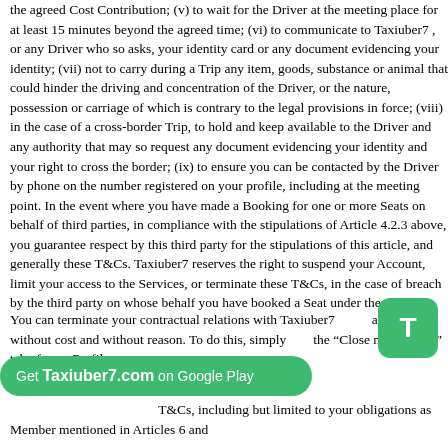the agreed Cost Contribution; (v) to wait for the Driver at the meeting place for at least 15 minutes beyond the agreed time; (vi) to communicate to Taxiuber7 , or any Driver who so asks, your identity card or any document evidencing your identity; (vii) not to carry during a Trip any item, goods, substance or animal that could hinder the driving and concentration of the Driver, or the nature, possession or carriage of which is contrary to the legal provisions in force; (viii) in the case of a cross-border Trip, to hold and keep available to the Driver and any authority that may so request any document evidencing your identity and your right to cross the border; (ix) to ensure you can be contacted by the Driver by phone on the number registered on your profile, including at the meeting point. In the event where you have made a Booking for one or more Seats on behalf of third parties, in compliance with the stipulations of Article 4.2.3 above, you guarantee respect by this third party for the stipulations of this article, and generally these T&Cs. Taxiuber7 reserves the right to suspend your Account, limit your access to the Services, or terminate these T&Cs, in the case of breach by the third party on whose behalf you have booked a Seat under these T&Cs.
You can terminate your contractual relations with Taxiuber7 at any time, without cost and without reason. To do this, simply use the “Close my account” tab of your Profile page.
In T&Cs, including but limited to your obligations as Member mentioned in Articles 6 and